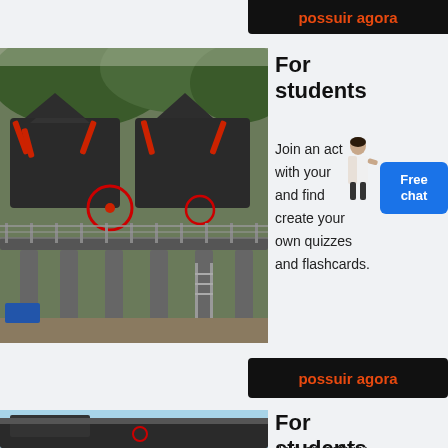possuir agora
[Figure (photo): Industrial heavy machinery (impact crusher / mining equipment) on elevated platform with mountains in background. Red circle annotations visible on the equipment.]
For students
Join an activity with your and find create your own quizzes and flashcards.
[Figure (other): Free chat button badge in blue]
possuir agora
[Figure (photo): Industrial heavy machinery (vibrating screen / mining equipment) partial view from lower angle against blue sky]
For students
Join an activity